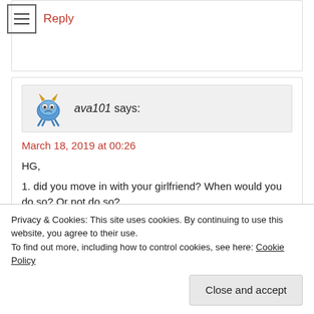Reply
ava101 says:
March 18, 2019 at 00:26
HG,
1. did you move in with your girlfriend? When would you do so? Or not do so?
2. Why would a narc not want his IPPS or candidate IPPS very close to him (have access to them)?
Privacy & Cookies: This site uses cookies. By continuing to use this website, you agree to their use.
To find out more, including how to control cookies, see here: Cookie Policy
Close and accept